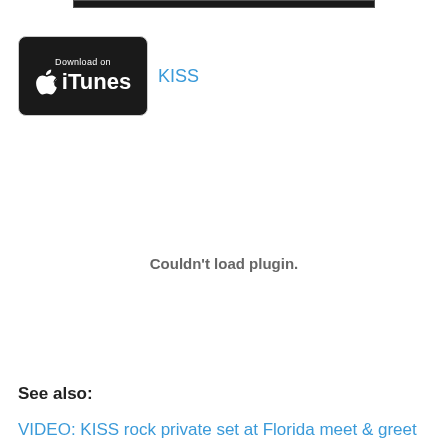[Figure (logo): Download on iTunes badge - black rounded rectangle with Apple logo and iTunes text, followed by blue KISS link text]
Couldn't load plugin.
See also:
VIDEO: KISS rock private set at Florida meet & greet